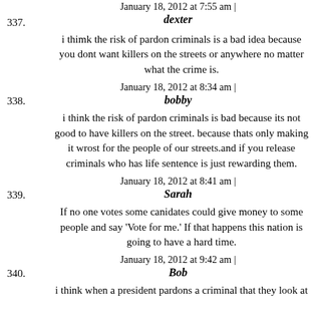January 18, 2012 at 7:55 am |
337. dexter
i thimk the risk of pardon criminals is a bad idea because you dont want killers on the streets or anywhere no matter what the crime is.
January 18, 2012 at 8:34 am |
338. bobby
i think the risk of pardon criminals is bad because its not good to have killers on the street. because thats only making it wrost for the people of our streets.and if you release criminals who has life sentence is just rewarding them.
January 18, 2012 at 8:41 am |
339. Sarah
If no one votes some canidates could give money to some people and say 'Vote for me.' If that happens this nation is going to have a hard time.
January 18, 2012 at 9:42 am |
340. Bob
i think when a president pardons a criminal that they look at